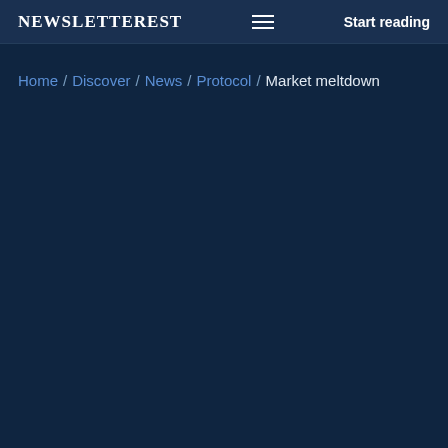NEWSLETTEREST   Start reading
Home / Discover / News / Protocol / Market meltdown